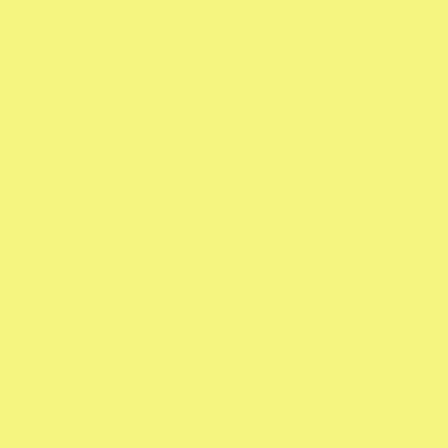[Figure (illustration): Green geometric star/snowflake pattern avatar icon]
Hurrah! I'm glad you wrote th... other day through a Julie Leu... almost six years, first as a pa... go to law school, and then in... group. There was so much di... started to feel like I was work... souls!
Posted by: Jill | May 20, 2005 at 03...
[Figure (illustration): Blue wavy lines / water pattern avatar icon]
I don't know-- it seems to me... here, and probably less. The... profession is that it is not for e... themselves in law school bec... I would put it to you that bette... would be the answer to a lot o...
Another problem you seem to... law is somehow rote, uncreat... of lawyers practice that way,... who don't practice that way s... Those are, quite often, the la... classes that were not about "...